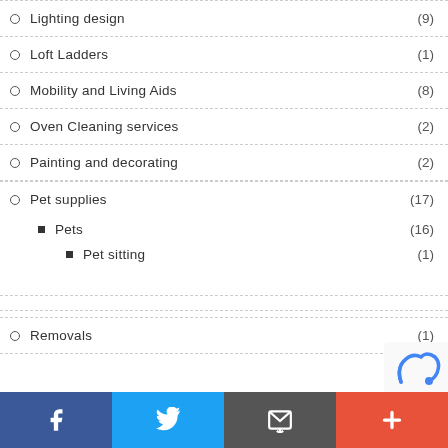Lighting design (9)
Loft Ladders (1)
Mobility and Living Aids (8)
Oven Cleaning services (2)
Painting and decorating (2)
Pet supplies (17)
Pets (16)
Pet sitting (1)
Removals (1)